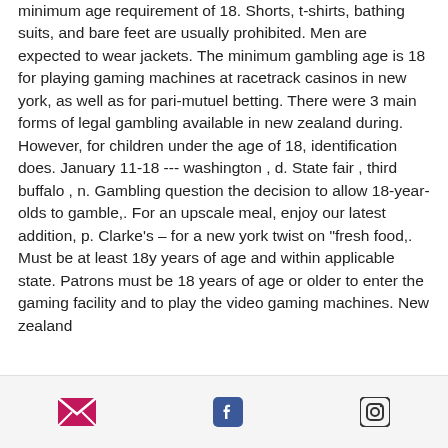minimum age requirement of 18. Shorts, t-shirts, bathing suits, and bare feet are usually prohibited. Men are expected to wear jackets. The minimum gambling age is 18 for playing gaming machines at racetrack casinos in new york, as well as for pari-mutuel betting. There were 3 main forms of legal gambling available in new zealand during. However, for children under the age of 18, identification does. January 11-18 --- washington , d. State fair , third buffalo , n. Gambling question the decision to allow 18-year-olds to gamble,. For an upscale meal, enjoy our latest addition, p. Clarke's – for a new york twist on "fresh food,. Must be at least 18y years of age and within applicable state. Patrons must be 18 years of age or older to enter the gaming facility and to play the video gaming machines. New zealand
Social icons: email, facebook, instagram